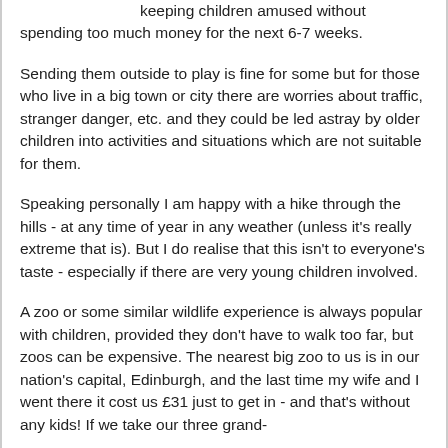keeping children amused without spending too much money for the next 6-7 weeks.
Sending them outside to play is fine for some but for those who live in a big town or city there are worries about traffic, stranger danger, etc. and they could be led astray by older children into activities and situations which are not suitable for them.
Speaking personally I am happy with a hike through the hills - at any time of year in any weather (unless it's really extreme that is). But I do realise that this isn't to everyone's taste - especially if there are very young children involved.
A zoo or some similar wildlife experience is always popular with children, provided they don't have to walk too far, but zoos can be expensive. The nearest big zoo to us is in our nation's capital, Edinburgh, and the last time my wife and I went there it cost us £31 just to get in - and that's without any kids! If we take our three grand-